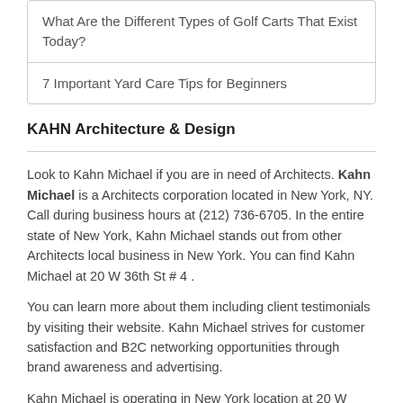What Are the Different Types of Golf Carts That Exist Today?
7 Important Yard Care Tips for Beginners
KAHN Architecture & Design
Look to Kahn Michael if you are in need of Architects. Kahn Michael is a Architects corporation located in New York, NY. Call during business hours at (212) 736-6705. In the entire state of New York, Kahn Michael stands out from other Architects local business in New York. You can find Kahn Michael at 20 W 36th St # 4 .
You can learn more about them including client testimonials by visiting their website. Kahn Michael strives for customer satisfaction and B2C networking opportunities through brand awareness and advertising.
Kahn Michael is operating in New York location at 20 W